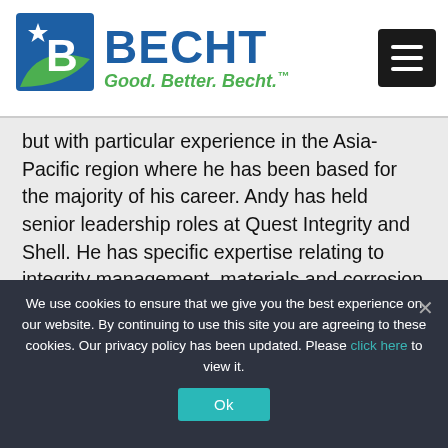[Figure (logo): Becht logo with blue B icon and green swoosh, blue BECHT text, green tagline Good. Better. Becht.]
but with particular experience in the Asia-Pacific region where he has been based for the majority of his career. Andy has held senior leadership roles at Quest Integrity and Shell. He has specific expertise relating to integrity management, materials and corrosion and fitness-for-service but is passionate about partnering with clients to develop integrated solutions that address
We use cookies to ensure that we give you the best experience on our website. By continuing to use this site you are agreeing to these cookies. Our privacy policy has been updated. Please click here to view it.
Ok